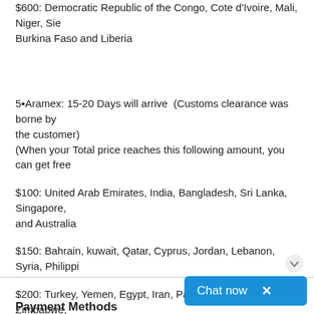$600: Democratic Republic of the Congo, Cote d'Ivoire, Mali, Niger, Sierra Leone, Burkina Faso and Liberia
5▪Aramex: 15-20 Days will arrive  (Customs clearance was borne by the customer)
(When your Total price reaches this following amount, you can get free
$100: United Arab Emirates, India, Bangladesh, Sri Lanka, Singapore, and Australia
$150: Bahrain, kuwait, Qatar, Cyprus, Jordan, Lebanon, Syria, Philippines
$200: Turkey, Yemen, Egypt, Iran, Pakistan, Algeria, Libya, Zimbabwe, Burundi and Saudi Arabia
$250: Ethiopia and Ghana
$400: Israel
$900: Iraq and Botswana
Payment Methods